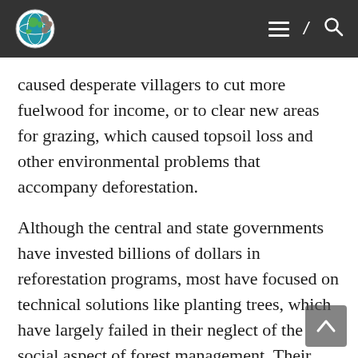Navigation bar with logo, hamburger menu, slash, and search icon
caused desperate villagers to cut more fuelwood for income, or to clear new areas for grazing, which caused topsoil loss and other environmental problems that accompany deforestation.
Although the central and state governments have invested billions of dollars in reforestation programs, most have focused on technical solutions like planting trees, which have largely failed in their neglect of the social aspect of forest management. Their trust violated by state forestry departments which took control of